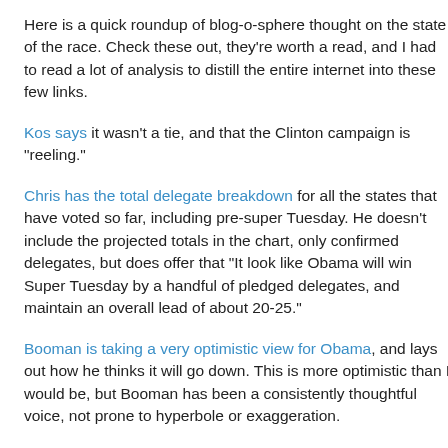Here is a quick roundup of blog-o-sphere thought on the state of the race. Check these out, they're worth a read, and I had to read a lot of analysis to distill the entire internet into these few links.
Kos says it wasn't a tie, and that the Clinton campaign is "reeling."
Chris has the total delegate breakdown for all the states that have voted so far, including pre-super Tuesday. He doesn't include the projected totals in the chart, only confirmed delegates, but does offer that "It look like Obama will win Super Tuesday by a handful of pledged delegates, and maintain an overall lead of about 20-25."
Booman is taking a very optimistic view for Obama, and lays out how he thinks it will go down. This is more optimistic than I would be, but Booman has been a consistently thoughtful voice, not prone to hyperbole or exaggeration.
Back at OpenLeft again, Chris has tempered his fears about a brokered convention. If you've been wondering how this